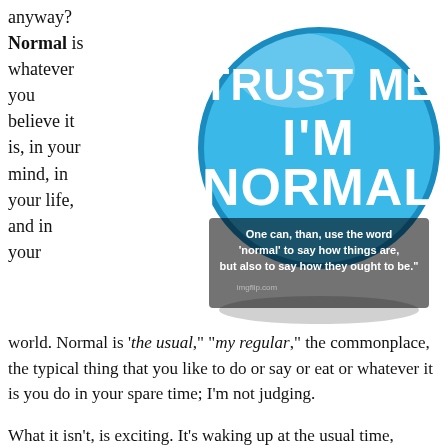anyway? Normal is whatever you believe it is, in your mind, in your life, and in your
[Figure (illustration): A blue circular button/badge with white bold text reading 'TRUST ME I'M NORMAL', with an overlaid caption: 'One can, than, use the word 'normal' to say how things are, but also to say how they ought to be.']
world. Normal is 'the usual,' "my regular," the commonplace, the typical thing that you like to do or say or eat or whatever it is you do in your spare time; I'm not judging.
What it isn't, is exciting. It's waking up at the usual time, having my regular breakfast, and then going to